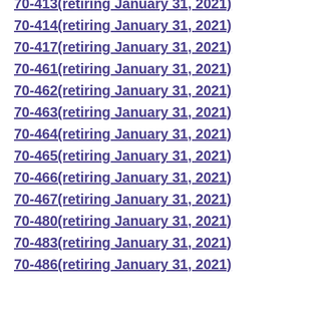70-413(retiring January 31, 2021)
70-414(retiring January 31, 2021)
70-417(retiring January 31, 2021)
70-461(retiring January 31, 2021)
70-462(retiring January 31, 2021)
70-463(retiring January 31, 2021)
70-464(retiring January 31, 2021)
70-465(retiring January 31, 2021)
70-466(retiring January 31, 2021)
70-467(retiring January 31, 2021)
70-480(retiring January 31, 2021)
70-483(retiring January 31, 2021)
70-486(retiring January 31, 2021)